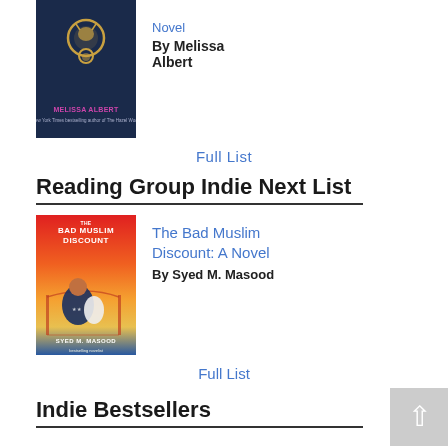[Figure (photo): Book cover for a novel by Melissa Albert - dark blue background with golden emblem]
Novel
By Melissa Albert
Full List
Reading Group Indie Next List
[Figure (photo): Book cover for 'The Bad Muslim Discount: A Novel' by Syed M. Masood - colorful cover with orange and red tones, figure in front of Golden Gate Bridge]
The Bad Muslim Discount: A Novel
By Syed M. Masood
Full List
Indie Bestsellers